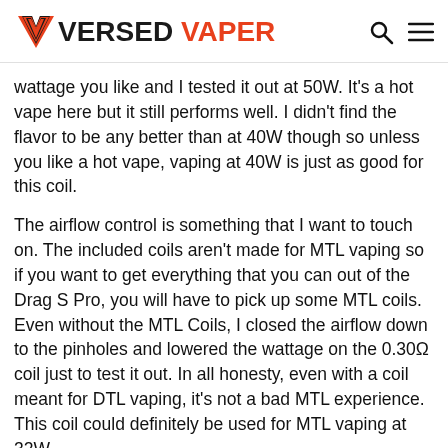VERSED VAPER
wattage you like and I tested it out at 50W. It's a hot vape here but it still performs well. I didn't find the flavor to be any better than at 40W though so unless you like a hot vape, vaping at 40W is just as good for this coil.
The airflow control is something that I want to touch on. The included coils aren't made for MTL vaping so if you want to get everything that you can out of the Drag S Pro, you will have to pick up some MTL coils. Even without the MTL Coils, I closed the airflow down to the pinholes and lowered the wattage on the 0.30Ω coil just to test it out. In all honesty, even with a coil meant for DTL vaping, it's not a bad MTL experience. This coil could definitely be used for MTL vaping at 32W.